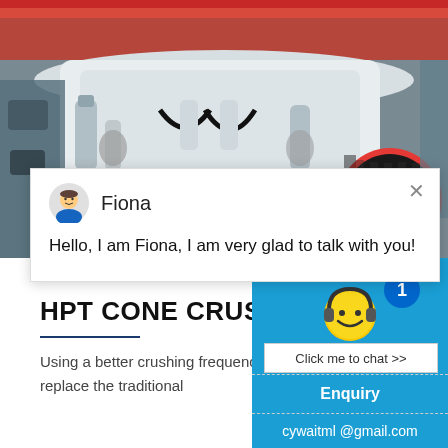[Figure (photo): Industrial HPT cone crusher machinery — white and grey heavy industrial crushing equipment with hydraulic cylinders, hoses, and a large black spool/reel visible on the right side, photographed in a factory/warehouse setting.]
Fiona
Hello, I am Fiona, I am very glad to talk with you!
HPT CONE CRUSHER
Using a better crushing frequency and eccentricity, to replace the traditional
[Figure (illustration): Yellow smiley face emoji with headphones chat widget icon with a blue notification bubble showing '1' and a 'Click me to chat >>' button below it.]
Enquiry
cywaitml @gmail.com